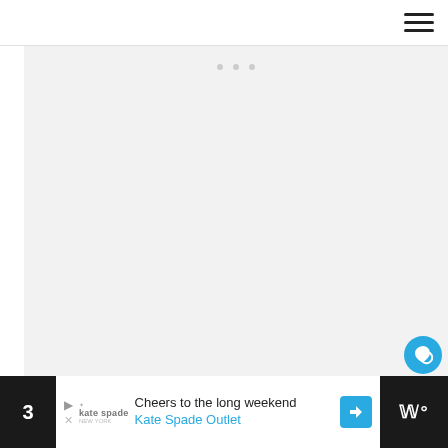[Figure (screenshot): Top navigation bar with hamburger menu icon on the right]
[Figure (screenshot): Light gray image placeholder area with three small dots near the top center, indicating a carousel or slideshow. A blue circular like/heart button, a share button, and a 'What's Next' panel with '35 Christmas Gift Wrappin...' text and a small circular thumbnail are overlaid on the right side.]
Not only is this one easy to DIY but it's funny and functional too! Learn how to concoct this over at Happy Money Saver and wrap it up tight.
[Figure (screenshot): Bottom advertisement bar: dark background with number 3, Kate Spade ad reading 'Cheers to the long weekend Kate Spade Outlet', blue navigation arrow icon, and a dark right section with white text 'W°']